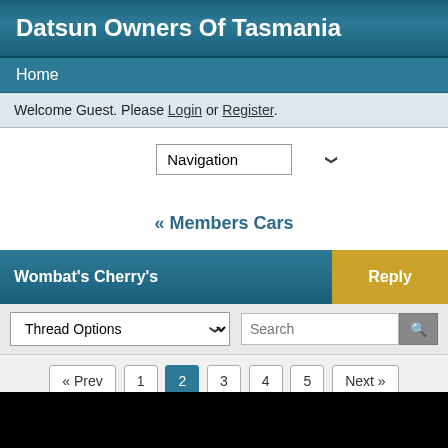Datsun Owners Of Tasmania
Home
Welcome Guest. Please Login or Register.
[Figure (screenshot): Navigation dropdown selector]
« Members Cars
Wombat's Cherry's
[Figure (screenshot): Thread options dropdown and search bar with pagination: « Prev 1 2 3 4 5 Next »]
tom210
Administrator
★★★★★
Sep 16, 2006 at 1:41pm